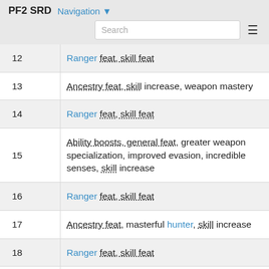PF2 SRD  Navigation
| Level | Class Features |
| --- | --- |
| 12 | Ranger feat, skill feat |
| 13 | Ancestry feat, skill increase, weapon mastery |
| 14 | Ranger feat, skill feat |
| 15 | Ability boosts, general feat, greater weapon specialization, improved evasion, incredible senses, skill increase |
| 16 | Ranger feat, skill feat |
| 17 | Ancestry feat, masterful hunter, skill increase |
| 18 | Ranger feat, skill feat |
| 19 | General feat, ancestry skill increase, swift... |